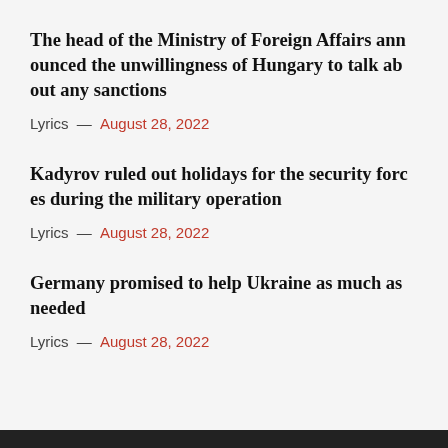The head of the Ministry of Foreign Affairs announced the unwillingness of Hungary to talk about any sanctions
Lyrics — August 28, 2022
Kadyrov ruled out holidays for the security forces during the military operation
Lyrics — August 28, 2022
Germany promised to help Ukraine as much as needed
Lyrics — August 28, 2022